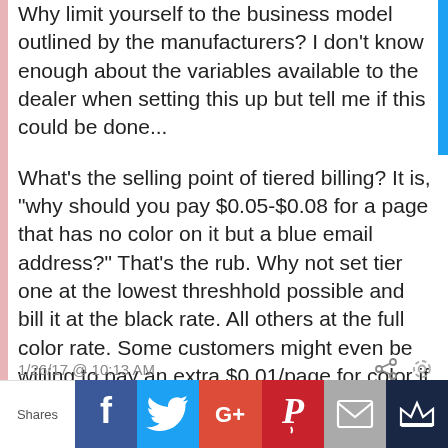Why limit yourself to the business model outlined by the manufacturers? I don't know enough about the variables available to the dealer when setting this up but tell me if this could be done...
What's the selling point of tiered billing? It is, "why should you pay $0.05-$0.08 for a page that has no color on it but a blue email address?" That's the rub. Why not set tier one at the lowest threshhold possible and bill it at the black rate. All others at the full color rate. Some customers might even be willing to pay an extra $0.01/page for color if it meant the didn't have to pay for color when there is the minimalist amount of color on a page.
1/26/17 @ 10:13 AM
[Figure (infographic): Social share bar with Facebook, Twitter, Google+, Pinterest, Email, and Crown icons]